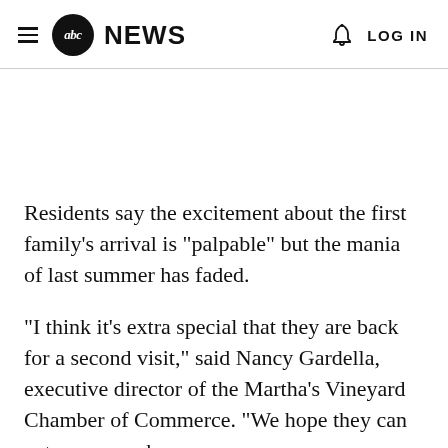abc NEWS  LOG IN
Residents say the excitement about the first family's arrival is "palpable" but the mania of last summer has faded.
"I think it's extra special that they are back for a second visit," said Nancy Gardella, executive director of the Martha's Vineyard Chamber of Commerce. "We hope they can get some much